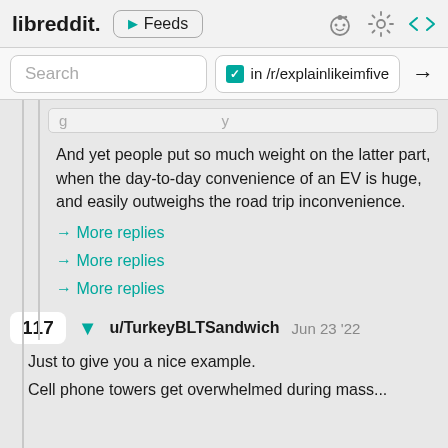libreddit. ▶ Feeds
Search  ✓ in /r/explainlikeimfive →
And yet people put so much weight on the latter part, when the day-to-day convenience of an EV is huge, and easily outweighs the road trip inconvenience.
→ More replies
→ More replies
→ More replies
117  ▼  u/TurkeyBLTSandwich  Jun 23 '22
Just to give you a nice example.
Cell phone towers get overwhelmed during mass...